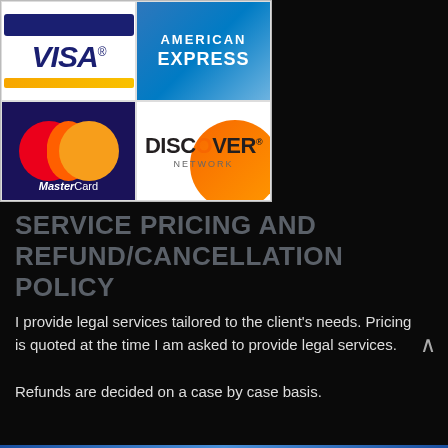[Figure (logo): Credit card acceptance logos: Visa, American Express, MasterCard, Discover Network arranged in a 2x2 grid on white background]
SERVICE PRICING AND REFUND/CANCELLATION POLICY
I provide legal services tailored to the client's needs. Pricing is quoted at the time I am asked to provide legal services.
Refunds are decided on a case by case basis.